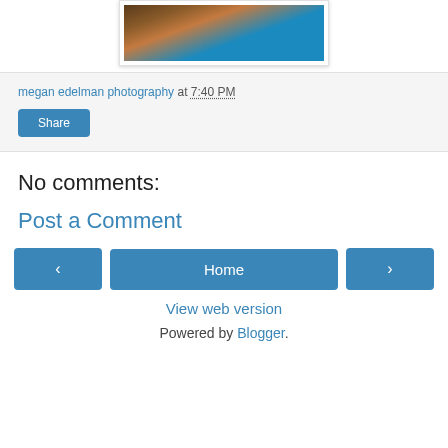[Figure (photo): Partial photo of people, cropped at top, showing hair and teal/blue clothing]
megan edelman photography at 7:40 PM
Share
No comments:
Post a Comment
Home
View web version
Powered by Blogger.